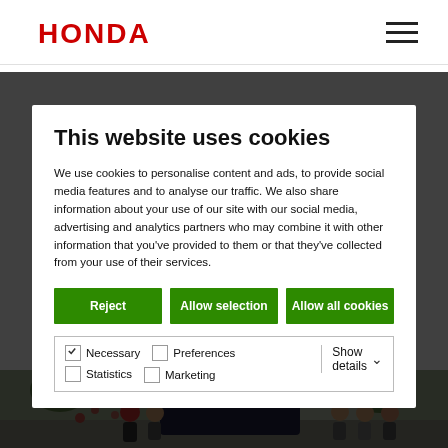HONDA
This website uses cookies
We use cookies to personalise content and ads, to provide social media features and to analyse our traffic. We also share information about your use of our site with our social media, advertising and analytics partners who may combine it with other information that you've provided to them or that they've collected from your use of their services.
Reject | Allow selection | Allow all cookies
Necessary  Preferences  Statistics  Marketing  Show details
Japan
[Figure (photo): Outdoor photo at bottom of page showing people near a car with trees and a building in the background]